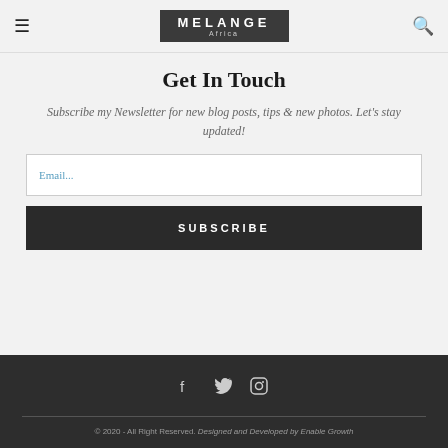MELANGE Africa
Get In Touch
Subscribe my Newsletter for new blog posts, tips & new photos. Let's stay updated!
Email...
SUBSCRIBE
[Figure (other): Social media icons: Facebook, Twitter, Instagram]
© 2020 - All Right Reserved. Designed and Developed by Enable Growth